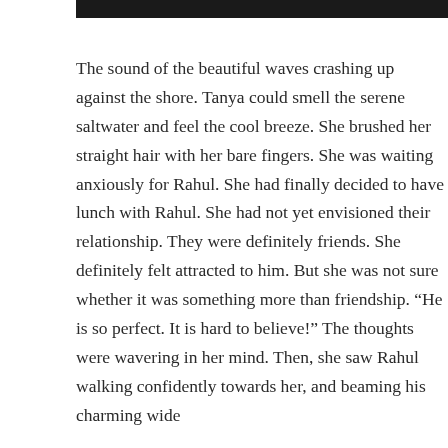The sound of the beautiful waves crashing up against the shore. Tanya could smell the serene saltwater and feel the cool breeze. She brushed her straight hair with her bare fingers. She was waiting anxiously for Rahul. She had finally decided to have lunch with Rahul. She had not yet envisioned their relationship. They were definitely friends. She definitely felt attracted to him. But she was not sure whether it was something more than friendship. “He is so perfect. It is hard to believe!” The thoughts were wavering in her mind. Then, she saw Rahul walking confidently towards her, and beaming his charming wide